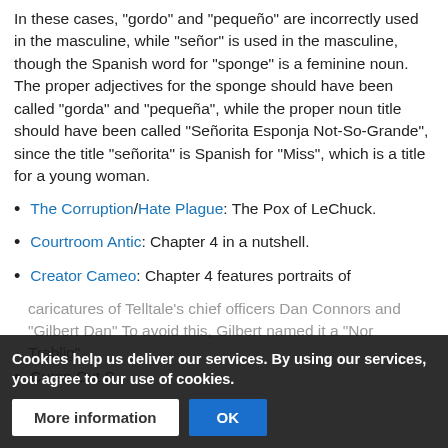In these cases, "gordo" and "pequeño" are incorrectly used in the masculine, while "señor" is used in the masculine, though the Spanish word for "sponge" is a feminine noun. The proper adjectives for the sponge should have been called "gorda" and "pequeña", while the proper noun title should have been called "Señorita Esponja Not-So-Grande", since the title "señorita" is Spanish for "Miss", which is a title for a young woman.
The Corruption/Hate Plague: The Pox of LeChuck.
Courtroom Antic: Chapter 4 in a nutshell.
Creator Cameo: Chapter 4 features portraits of caricatures of Telltale's chief officers Dan Connors and "Gilbert Dan" To avoid this, Gilbert named it a "Nor Treblig".
Curse Cut S...
Cookies help us deliver our services. By using our services, you agree to our use of cookies.